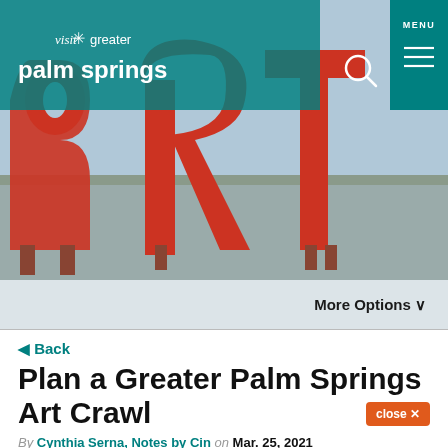[Figure (photo): Hero image showing large red 'art' letter sculptures outdoors, with a website navigation header overlaid. The header shows 'visit greater palm springs' logo on teal background, a search icon, and a MENU button on the right.]
More Options ❯
◀ Back
Plan a Greater Palm Springs Art Crawl
By Cynthia Serna, Notes by Cin on Mar. 25, 2021
When it comes to seeing the best in curated art, world-class paintings and standout exhibits, a trip to